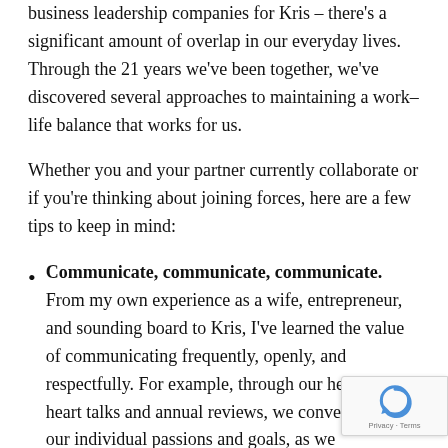business leadership companies for Kris – there's a significant amount of overlap in our everyday lives. Through the 21 years we've been together, we've discovered several approaches to maintaining a work–life balance that works for us.
Whether you and your partner currently collaborate or if you're thinking about joining forces, here are a few tips to keep in mind:
Communicate, communicate, communicate. From my own experience as a wife, entrepreneur, and sounding board to Kris, I've learned the value of communicating frequently, openly, and respectfully. For example, through our heart-to-heart talks and annual reviews, we converse about our individual passions and goals, as well as our collective ones. This helps bring clarity to both of our needs, as well as guides us in